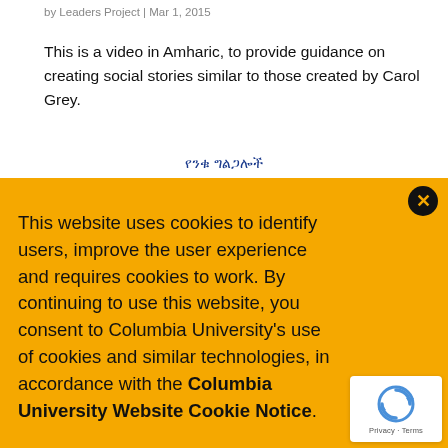by Leaders Project | Mar 1, 2015
This is a video in Amharic, to provide guidance on creating social stories similar to those created by Carol Grey.
የንቁ ግልጋሎች
This website uses cookies to identify users, improve the user experience and requires cookies to work. By continuing to use this website, you consent to Columbia University's use of cookies and similar technologies, in accordance with the Columbia University Website Cookie Notice.